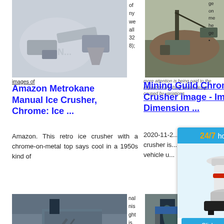[Figure (photo): Amazon Metrokane manual ice crusher with chrome top, white background product photo with watermark logo]
of
ny
we
all
32
8);
images of
Amazon Metrokane Manual Ice Crusher, Chrome: Ice ...
Amazon. This retro ice crusher with a chrome-on-metal top says cool in a 1950s kind of
[Figure (photo): Mining quarry with large rock crushing equipment and excavators at a stone quarry site]
ge
on
me
he
ge
•
more attention is being paid to the impact on crushing circuit design caused by variations
Mining Guild Chrome Crusher image - Imperial Dimension ...
2020-11-2... crusher is... vehicle u...
[Figure (photo): Industrial black and chrome crushing facility with conveyor belts and large industrial structure]
nal
nis
ght
is,
en
for
as
soft drinks, to use the ice as a bed for fresh vegetables ...
Crusher - Black and Chrome by RustyHauser on DeviantArt
Paint a picture. Experiment with
[Figure (photo): Chrome LEGO building set photo with industrial structures]
The Chro... LEGO se... (Building...
The Chro...
[Figure (other): 24/7 hour online chat widget with cone crusher machine image, Click me to chat button, Enquiry section, and limingjlmofen text at bottom]